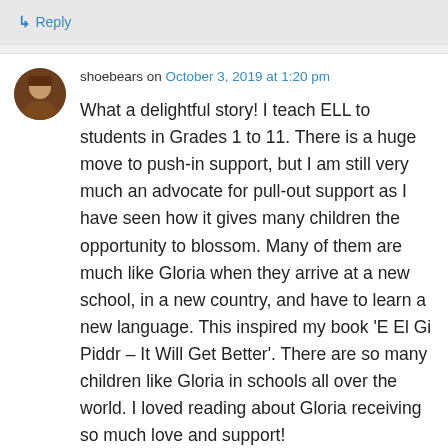↳ Reply
shoebears on October 3, 2019 at 1:20 pm
What a delightful story! I teach ELL to students in Grades 1 to 11. There is a huge move to push-in support, but I am still very much an advocate for pull-out support as I have seen how it gives many children the opportunity to blossom. Many of them are much like Gloria when they arrive at a new school, in a new country, and have to learn a new language. This inspired my book 'E El Gi Piddr – It Will Get Better'. There are so many children like Gloria in schools all over the world. I loved reading about Gloria receiving so much love and support!